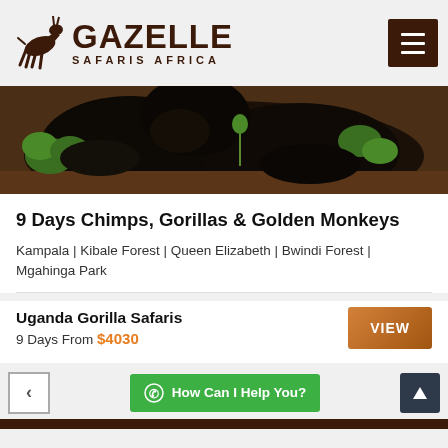GAZELLE SAFARIS AFRICA
[Figure (photo): Close-up photo of a gorilla lying on the ground surrounded by green plants and brown earth]
9 Days Chimps, Gorillas & Golden Monkeys
Kampala | Kibale Forest | Queen Elizabeth | Bwindi Forest | Mgahinga Park
Uganda Gorilla Safaris
9 Days From $4030
VIEW
How Can I Help You?